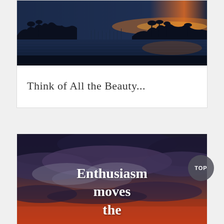[Figure (photo): Nighttime/dusk harbor or marina scene with dark water reflections, palm tree silhouettes along the horizon, and a glowing orange-pink sunset on the far right. Dark blue tones dominate.]
Think of All the Beauty...
[Figure (photo): Dramatic cloudy sky with dark blue and purple clouds over a warm orange-red lower sky (sunset). White bold text reads 'Enthusiasm moves the' overlaid on the image.]